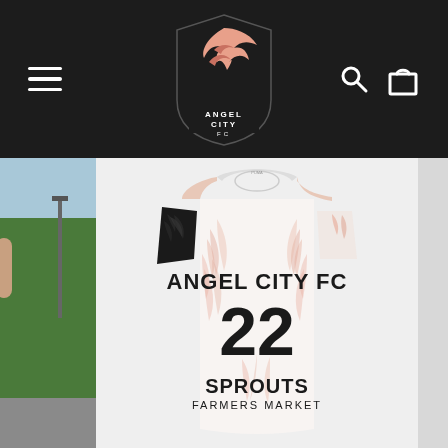Angel City FC website navigation header with hamburger menu, Angel City FC shield logo, search and cart icons
[Figure (photo): Back view of Angel City FC white soccer jersey with pink palm leaf pattern, black sleeve, number 22, 'ANGEL CITY FC' text, and Sprouts Farmers Market sponsor logo. Partial street/outdoor scene visible on left edge.]